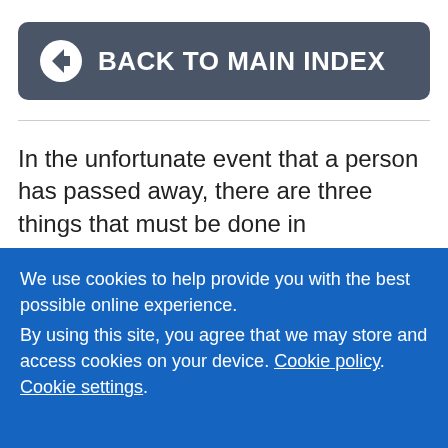[Figure (other): Dark grey rounded rectangle button with left-arrow circle icon and text BACK TO MAIN INDEX in white bold capitals]
In the unfortunate event that a person has passed away, there are three things that must be done in
We use cookies to help provide you with the best possible online experience.
By using this site, you agree that we may store and access cookies on your device. Cookie policy. Cookie settings.
[Figure (other): Black ACCEPT button on blue cookie consent overlay]